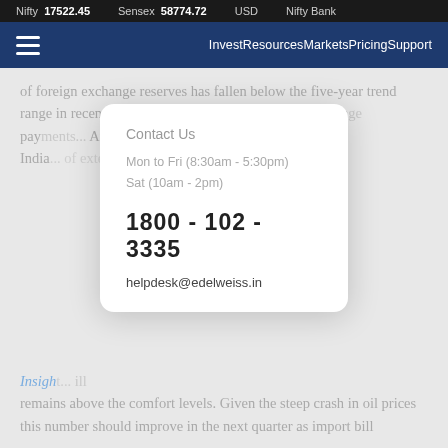Nifty 17522.45   Sensex 58774.72   USD   Nifty Bank
≡   InvestResourcesMarketsPricingSupport
of foreign exchange reserves has fallen below the five-year trend range in recent months. Impo... foreign excha... pay... At prese... impo... ns India ... of exter...
Contact Us
Mon to Fri (8:30am - 5:30pm)
Sat (10am - 2pm)
1800 - 102 - 3335
helpdesk@edelweiss.in
Insigh... ill remains above the comfort levels. Given the steep crash in oil prices this number should improve in the next quarter as import bill